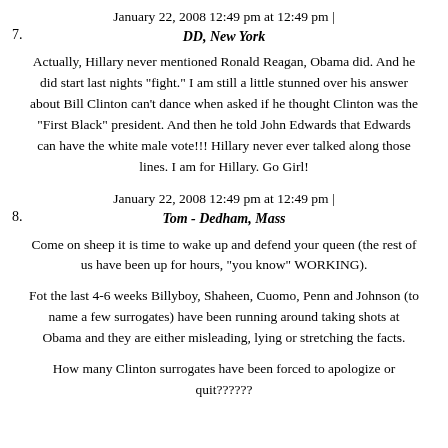January 22, 2008 12:49 pm at 12:49 pm |
7.
DD, New York
Actually, Hillary never mentioned Ronald Reagan, Obama did. And he did start last nights "fight." I am still a little stunned over his answer about Bill Clinton can't dance when asked if he thought Clinton was the "First Black" president. And then he told John Edwards that Edwards can have the white male vote!!! Hillary never ever talked along those lines. I am for Hillary. Go Girl!
January 22, 2008 12:49 pm at 12:49 pm |
8.
Tom - Dedham, Mass
Come on sheep it is time to wake up and defend your queen (the rest of us have been up for hours, "you know" WORKING).
Fot the last 4-6 weeks Billyboy, Shaheen, Cuomo, Penn and Johnson (to name a few surrogates) have been running around taking shots at Obama and they are either misleading, lying or stretching the facts.
How many Clinton surrogates have been forced to apologize or quit??????